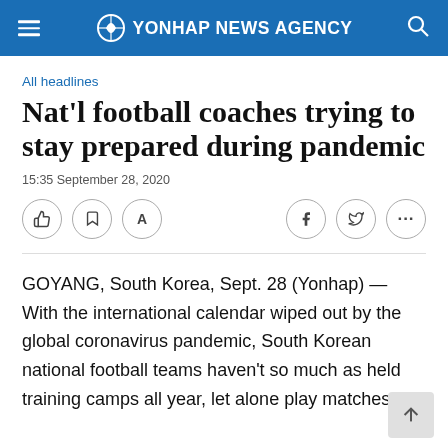YONHAP NEWS AGENCY
All headlines
Nat'l football coaches trying to stay prepared during pandemic
15:35 September 28, 2020
GOYANG, South Korea, Sept. 28 (Yonhap) — With the international calendar wiped out by the global coronavirus pandemic, South Korean national football teams haven't so much as held training camps all year, let alone play matches.